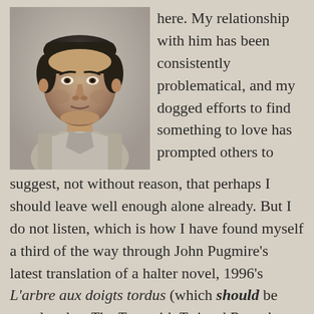[Figure (photo): Black and white photograph of a middle-aged man with dark hair, wearing a light-colored open-collar shirt, looking directly at the camera with a neutral expression against a light background.]
here. My relationship with him has been consistently problematical, and my dogged efforts to find something to love has prompted others to suggest, not without reason, that perhaps I should leave well enough alone already. But I do not listen, which is how I have found myself a third of the way through John Pugmire's latest translation of a halter novel, 1996's L'arbre aux doigts tordus (which should be translated as The Tree with Twisted Branches but has instead been given the English title The Vampire Tree). Things are not going well. I have serious issues with the plot, the paper-thin characters, even the translation itself, which seems oddly stilted.